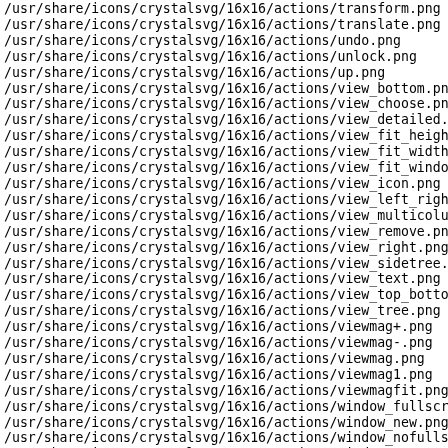/usr/share/icons/crystalsvg/16x16/actions/transform.png
/usr/share/icons/crystalsvg/16x16/actions/translate.png
/usr/share/icons/crystalsvg/16x16/actions/undo.png
/usr/share/icons/crystalsvg/16x16/actions/unlock.png
/usr/share/icons/crystalsvg/16x16/actions/up.png
/usr/share/icons/crystalsvg/16x16/actions/view_bottom.png
/usr/share/icons/crystalsvg/16x16/actions/view_choose.png
/usr/share/icons/crystalsvg/16x16/actions/view_detailed.p
/usr/share/icons/crystalsvg/16x16/actions/view_fit_height
/usr/share/icons/crystalsvg/16x16/actions/view_fit_width
/usr/share/icons/crystalsvg/16x16/actions/view_fit_windo
/usr/share/icons/crystalsvg/16x16/actions/view_icon.png
/usr/share/icons/crystalsvg/16x16/actions/view_left_right
/usr/share/icons/crystalsvg/16x16/actions/view_multicolum
/usr/share/icons/crystalsvg/16x16/actions/view_remove.png
/usr/share/icons/crystalsvg/16x16/actions/view_right.png
/usr/share/icons/crystalsvg/16x16/actions/view_sidetree.p
/usr/share/icons/crystalsvg/16x16/actions/view_text.png
/usr/share/icons/crystalsvg/16x16/actions/view_top_botton
/usr/share/icons/crystalsvg/16x16/actions/view_tree.png
/usr/share/icons/crystalsvg/16x16/actions/viewmag+.png
/usr/share/icons/crystalsvg/16x16/actions/viewmag-.png
/usr/share/icons/crystalsvg/16x16/actions/viewmag.png
/usr/share/icons/crystalsvg/16x16/actions/viewmag1.png
/usr/share/icons/crystalsvg/16x16/actions/viewmagfit.png
/usr/share/icons/crystalsvg/16x16/actions/window_fullscre
/usr/share/icons/crystalsvg/16x16/actions/window_new.png
/usr/share/icons/crystalsvg/16x16/actions/window_nofullsc
/usr/share/icons/crystalsvg/16x16/actions/window_suppress
/usr/share/icons/crystalsvg/16x16/actions/wizard.png